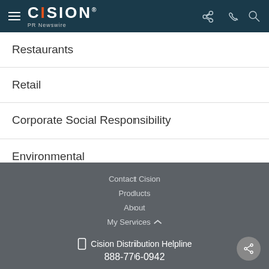CISION PR Newswire
Restaurants
Retail
Corporate Social Responsibility
Environmental
Contact Cision
Products
About
My Services
Cision Distribution Helpline
888-776-0942